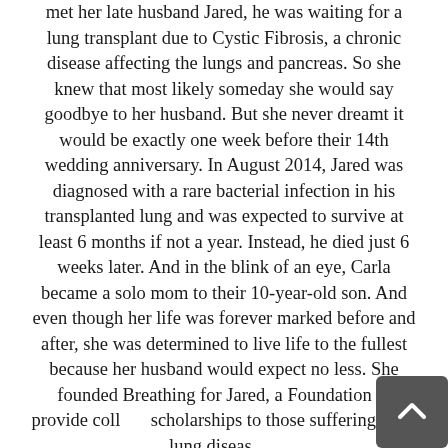met her late husband Jared, he was waiting for a lung transplant due to Cystic Fibrosis, a chronic disease affecting the lungs and pancreas. So she knew that most likely someday she would say goodbye to her husband. But she never dreamt it would be exactly one week before their 14th wedding anniversary. In August 2014, Jared was diagnosed with a rare bacterial infection in his transplanted lung and was expected to survive at least 6 months if not a year. Instead, he died just 6 weeks later. And in the blink of an eye, Carla became a solo mom to their 10-year-old son. And even though her life was forever marked before and after, she was determined to live life to the fullest because her husband would expect no less. She founded Breathing for Jared, a Foundation to provide college scholarships to those suffering from lung disease in